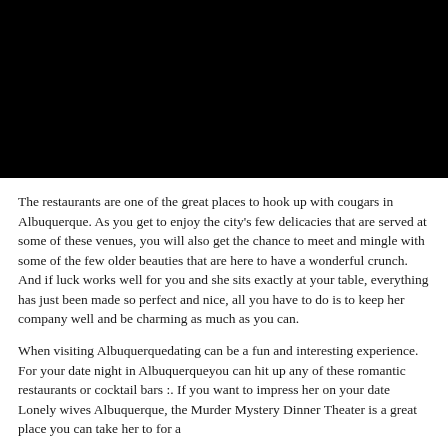[Figure (photo): Large black rectangular image filling the top portion of the page]
The restaurants are one of the great places to hook up with cougars in Albuquerque. As you get to enjoy the city's few delicacies that are served at some of these venues, you will also get the chance to meet and mingle with some of the few older beauties that are here to have a wonderful crunch. And if luck works well for you and she sits exactly at your table, everything has just been made so perfect and nice, all you have to do is to keep her company well and be charming as much as you can.
When visiting Albuquerquedating can be a fun and interesting experience. For your date night in Albuquerqueyou can hit up any of these romantic restaurants or cocktail bars :. If you want to impress her on your date Lonely wives Albuquerque, the Murder Mystery Dinner Theater is a great place you can take her to for a